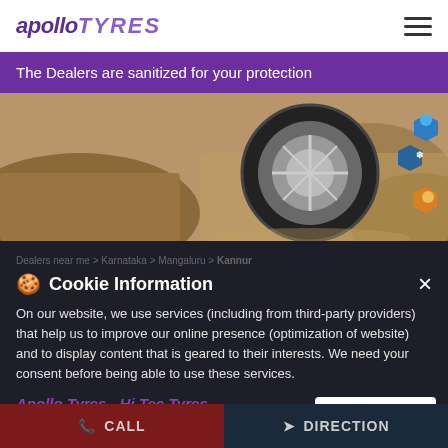[Figure (logo): Apollo Tyres logo with purple italic text and hamburger menu icon]
The Dealers are sanitized for your protection
[Figure (photo): Apollo Tyres hero image showing an off-road tyre on rocky terrain with hexagonal feature icons]
Cookie Information
Dealers near me > Karnataka > Mangaluru > Kannur
On our website, we use services (including from third-party providers) that help us to improve our online presence (optimization of website) and to display content that is geared to their interests. We need your consent before being able to use these services.
Apollo Tyres - Hi Tec Tyres
Ground Floor, NH 48
I ACCEPT
CALL
DIRECTION